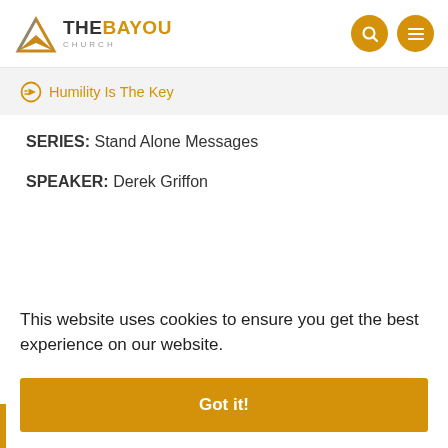[Figure (logo): The Bayou Church logo with arrow/bird SVG icon and text THE BAYOU CHURCH]
Humility Is The Key
SERIES: Stand Alone Messages
SPEAKER: Derek Griffon
This website uses cookies to ensure you get the best experience on our website.
Got it!